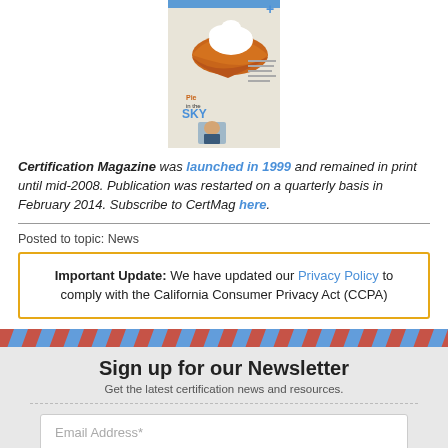[Figure (photo): Magazine cover for Certification Magazine showing a pie with whipped cream and text 'Pie in the SKY']
Certification Magazine was launched in 1999 and remained in print until mid-2008. Publication was restarted on a quarterly basis in February 2014. Subscribe to CertMag here.
Posted to topic: News
Important Update: We have updated our Privacy Policy to comply with the California Consumer Privacy Act (CCPA)
Sign up for our Newsletter
Get the latest certification news and resources.
Email Address*